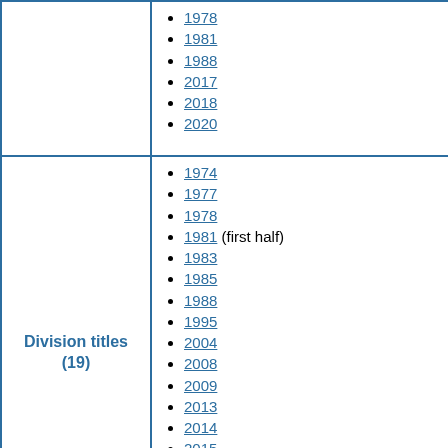1978
1981
1988
2017
2018
2020
|  | 1978, 1981, 1988, 2017, 2018, 2020 |
| Division titles (19) | 1974, 1977, 1978, 1981 (first half), 1983, 1985, 1988, 1995, 2004, 2008, 2009, 2013, 2014, 2015, 2016, 2017, 2018, 2019 |
1974
1977
1978
1981 (first half)
1983
1985
1988
1995
2004
2008
2009
2013
2014
2015
2016
2017
2018
2019